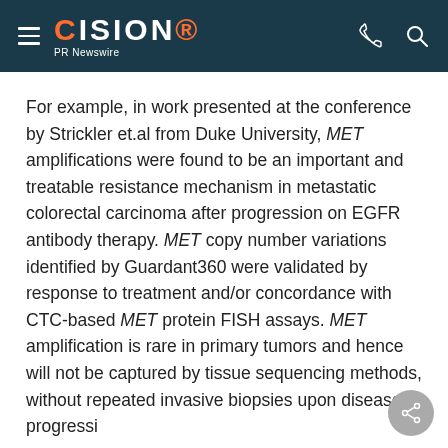CISION PR Newswire
For example, in work presented at the conference by Strickler et.al from Duke University, MET amplifications were found to be an important and treatable resistance mechanism in metastatic colorectal carcinoma after progression on EGFR antibody therapy. MET copy number variations identified by Guardant360 were validated by response to treatment and/or concordance with CTC-based MET protein FISH assays. MET amplification is rare in primary tumors and hence will not be captured by tissue sequencing methods, without repeated invasive biopsies upon disease progression